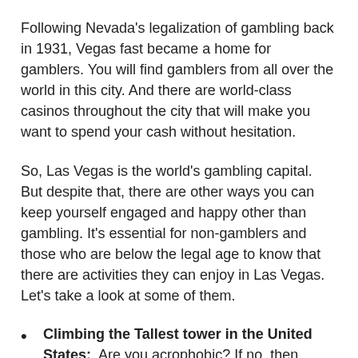Following Nevada's legalization of gambling back in 1931, Vegas fast became a home for gamblers. You will find gamblers from all over the world in this city. And there are world-class casinos throughout the city that will make you want to spend your cash without hesitation.
So, Las Vegas is the world's gambling capital. But despite that, there are other ways you can keep yourself engaged and happy other than gambling. It's essential for non-gamblers and those who are below the legal age to know that there are activities they can enjoy in Las Vegas. Let's take a look at some of them.
Climbing the Tallest tower in the United States: Are you acrophobic? If no, then here's an activity for you! When you visit Las Vegas, don't hesitate to visit the Stratosphere Observation Deck. It's 1,149 feet high and will offer you a 360 view of Vegas, including her beautiful desert.